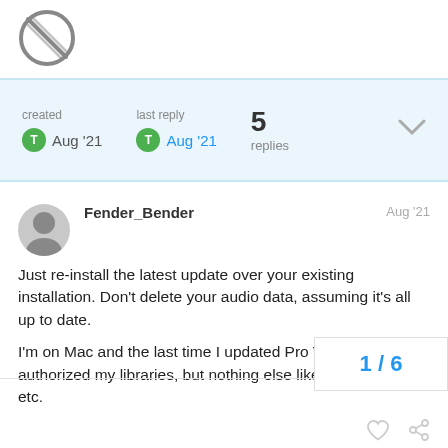[Figure (logo): Forum logo - diagonal strikethrough circle icon in dark gray]
created Aug '21  last reply Aug '21  5 replies
Fender_Bender  Aug '21
Just re-install the latest update over your existing installation. Don't delete your audio data, assuming it's all up to date.

I'm on Mac and the last time I updated Pro Tools, it de-authorized my libraries, but nothing else like missing plugin, etc.
TomLaRosa  Aug '21
1 / 6